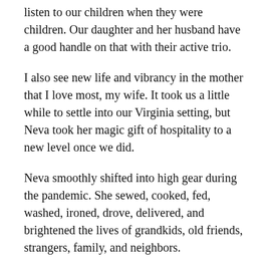listen to our children when they were children. Our daughter and her husband have a good handle on that with their active trio.
I also see new life and vibrancy in the mother that I love most, my wife. It took us a little while to settle into our Virginia setting, but Neva took her magic gift of hospitality to a new level once we did.
Neva smoothly shifted into high gear during the pandemic. She sewed, cooked, fed, washed, ironed, drove, delivered, and brightened the lives of grandkids, old friends, strangers, family, and neighbors.